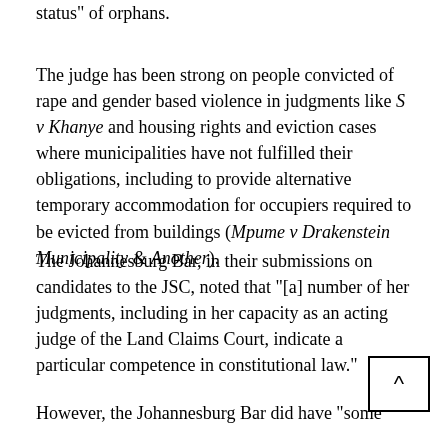status" of orphans.
The judge has been strong on people convicted of rape and gender based violence in judgments like S v Khanye and housing rights and eviction cases where municipalities have not fulfilled their obligations, including to provide alternative temporary accommodation for occupiers required to be evicted from buildings (Mpume v Drakenstein Municipality & Another).
The Johannesburg Bar, in their submissions on candidates to the JSC, noted that "[a] number of her judgments, including in her capacity as an acting judge of the Land Claims Court, indicate a particular competence in constitutional law."
However, the Johannesburg Bar did have "some